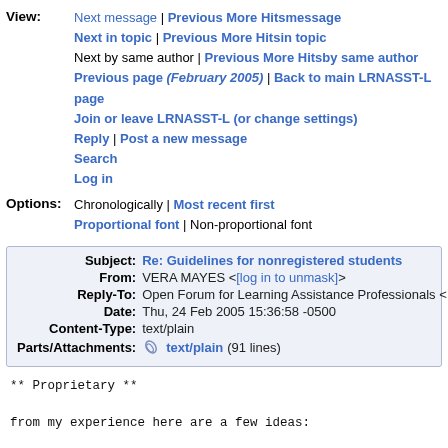View: Next message | Previous More Hitsmessage
Next in topic | Previous More Hitsin topic
Next by same author | Previous More Hitsby same author
Previous page (February 2005) | Back to main LRNASST-L page
Join or leave LRNASST-L (or change settings)
Reply | Post a new message
Search
Log in
Options: Chronologically | Most recent first
Proportional font | Non-proportional font
| Field | Value |
| --- | --- |
| Subject: | Re: Guidelines for nonregistered students |
| From: | VERA MAYES <[log in to unmask]> |
| Reply-To: | Open Forum for Learning Assistance Professionals < |
| Date: | Thu, 24 Feb 2005 15:36:58 -0500 |
| Content-Type: | text/plain |
| Parts/Attachments: | text/plain (91 lines) |
** Proprietary **

from my experience here are a few ideas:

this may sound sad but you need to have a policy about
sites you view as objectionable.

If it takes off, you might want to have a time limit.